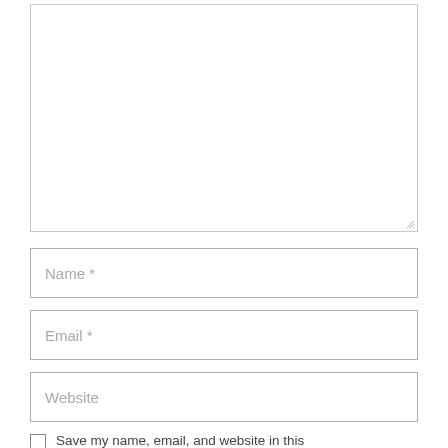[Figure (screenshot): Large empty textarea input box with resize handle at bottom-right corner]
Name *
Email *
Website
Save my name, email, and website in this browser for the next time I comment.